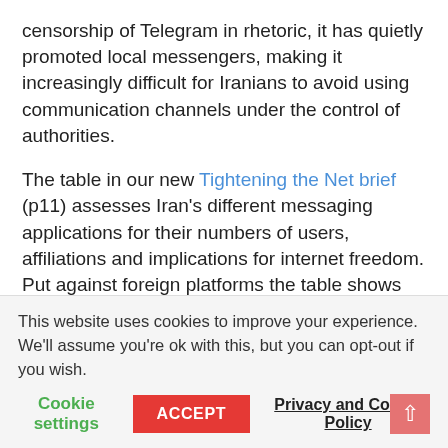censorship of Telegram in rhetoric, it has quietly promoted local messengers, making it increasingly difficult for Iranians to avoid using communication channels under the control of authorities.
The table in our new Tightening the Net brief (p11) assesses Iran's different messaging applications for their numbers of users, affiliations and implications for internet freedom. Put against foreign platforms the table shows that local messengers are failing to attain the usage levels of their foreign competitors, despite government efforts. Telegram continues to be accessed through circumvention methods, and increasingly messaging platforms such as WhatsApp
This website uses cookies to improve your experience. We'll assume you're ok with this, but you can opt-out if you wish.
Cookie settings   ACCEPT   Privacy and Cookie Policy